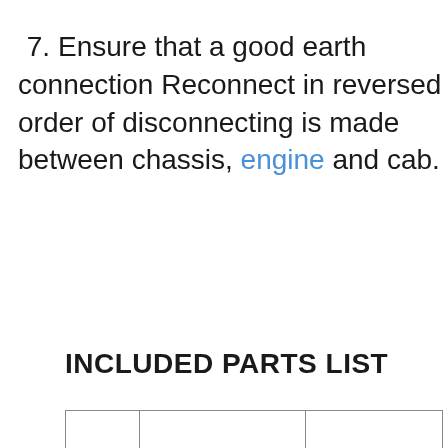7. Ensure that a good earth connection Reconnect in reversed order of disconnecting is made between chassis, engine and cab.
INCLUDED PARTS LIST
|  |  |  |